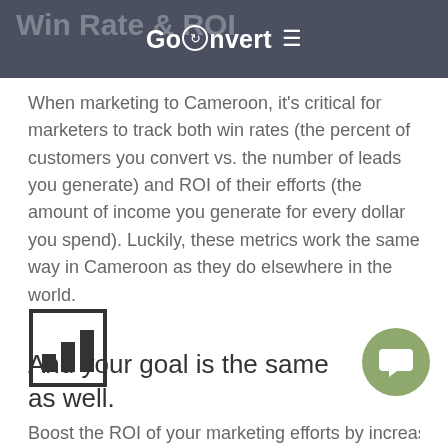Win Rate & ROI — GoConvert
When marketing to Cameroon, it's critical for marketers to track both win rates (the percent of customers you convert vs. the number of leads you generate) and ROI of their efforts (the amount of income you generate for every dollar you spend). Luckily, these metrics work the same way in Cameroon as they do elsewhere in the world.
[Figure (illustration): Bar chart icon in a square border — simple line-art bars of increasing height inside a rectangle outline]
And your goal is the same as well.
Boost the ROI of your marketing efforts by increasing